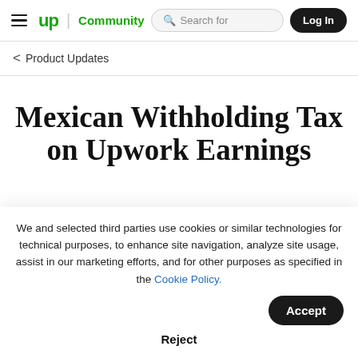up Community | Search for | Log In
< Product Updates
Mexican Withholding Tax on Upwork Earnings
We and selected third parties use cookies or similar technologies for technical purposes, to enhance site navigation, analyze site usage, assist in our marketing efforts, and for other purposes as specified in the Cookie Policy. [Accept] [Reject]